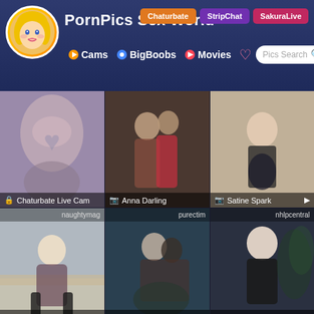PornPics Sex World | Chaturbate | StripChat | SakuraLive | Cams | BigBoobs | Movies | Pics Search
[Figure (screenshot): Website screenshot of PornPics Sex World adult content thumbnail gallery with navigation header showing Cams, BigBoobs, Movies nav links and Pics Search bar, and a grid of 9 photo thumbnails labeled: Chaturbate Live Cam, Anna Darling, Satine Spark, Satine Spark (naughtymag), Shay London (purectim), Satine Spark (nhlpcentral), and three partial row thumbnails with labels laceystarr and others]